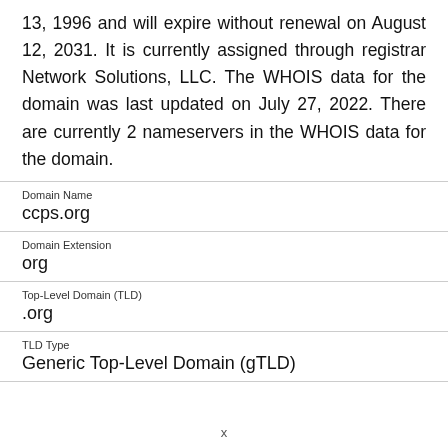13, 1996 and will expire without renewal on August 12, 2031. It is currently assigned through registrar Network Solutions, LLC. The WHOIS data for the domain was last updated on July 27, 2022. There are currently 2 nameservers in the WHOIS data for the domain.
| Field | Value |
| --- | --- |
| Domain Name | ccps.org |
| Domain Extension | org |
| Top-Level Domain (TLD) | .org |
| TLD Type | Generic Top-Level Domain (gTLD) |
x